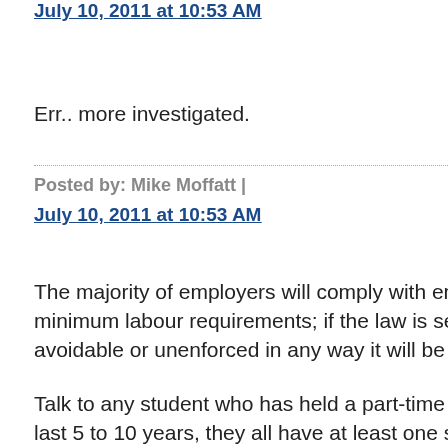July 10, 2011 at 10:53 AM
Err.. more investigated.
Posted by: Mike Moffatt | July 10, 2011 at 10:53 AM
The majority of employers will comply with enforced legal minimum labour requirements; if the law is seen to be avoidable or unenforced in any way it will be ignored.
Talk to any student who has held a part-time job in the last 5 to 10 years, they all have at least one story of being shorted wages, forced into unpaid overtime, working 10